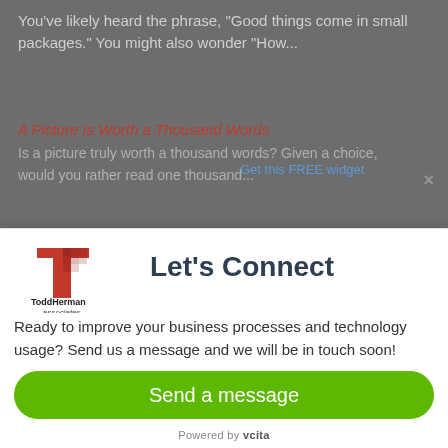You've likely heard the phrase, "Good things come in small packages." You might also wonder "How...
A Picture Is Worth a Thousand Words
Is a picture truly worth a thousand words? Given a choice, would you rather read one thousand...
Get this FREE widget
[Figure (logo): ToddHerman associates logo with red T icon and grid pattern]
Let's Connect
Ready to improve your business processes and technology usage? Send us a message and we will be in touch soon!
Send a message
Powered by vcita
Seeing Around Corners – Your Books to Help Remain your...